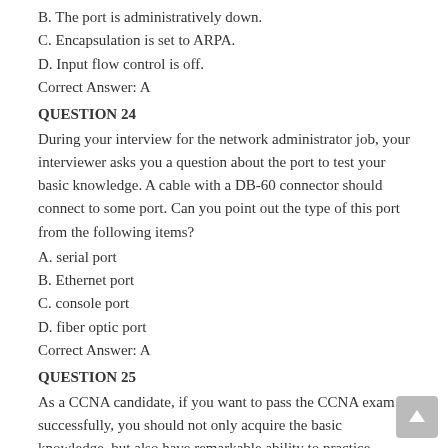B. The port is administratively down.
C. Encapsulation is set to ARPA.
D. Input flow control is off.
Correct Answer: A
QUESTION 24
During your interview for the network administrator job, your interviewer asks you a question about the port to test your basic knowledge. A cable with a DB-60 connector should connect to some port. Can you point out the type of this port from the following items?
A. serial port
B. Ethernet port
C. console port
D. fiber optic port
Correct Answer: A
QUESTION 25
As a CCNA candidate, if you want to pass the CCNA exam successfully, you should not only acquire the basic knowledge, but also have remarkable ability to practice